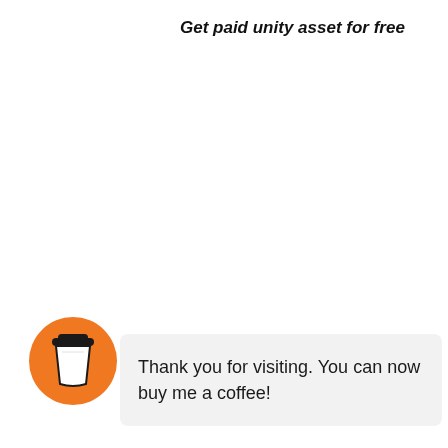Get paid unity asset for free
[Figure (illustration): Orange circular icon with a white takeaway coffee cup and dark lid]
Thank you for visiting. You can now buy me a coffee!